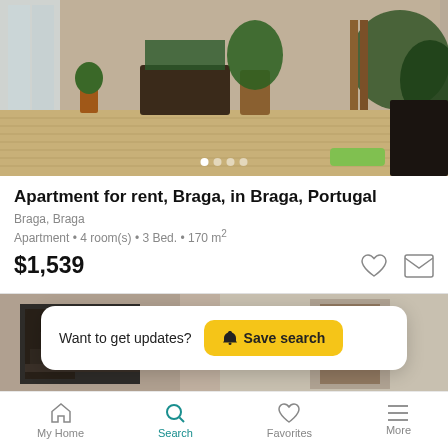[Figure (photo): Photo of an apartment outdoor terrace/patio with wood-decked floor, potted plants and greenery, brick wall in background]
Apartment for rent, Braga, in Braga, Portugal
Braga, Braga
Apartment • 4 room(s) • 3 Bed. • 170 m²
$1,539
[Figure (screenshot): Second apartment listing photo partially visible showing interior staircase area]
Want to get updates? Save search
My Home  Search  Favorites  More